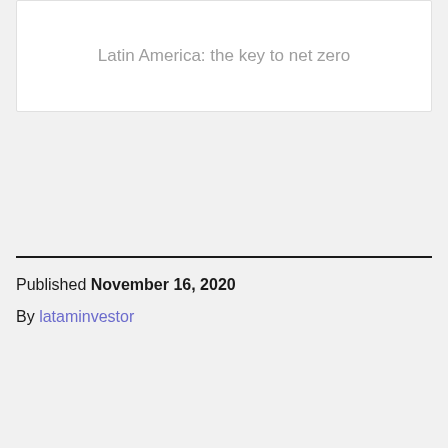Latin America: the key to net zero
Published November 16, 2020
By lataminvestor